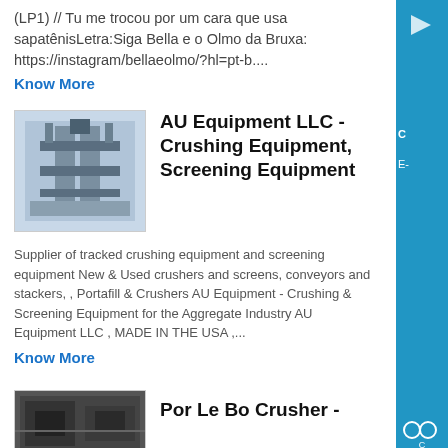(LP1) // Tu me trocou por um cara que usa sapatênisLetra:Siga Bella e o Olmo da Bruxa: https://instagram/bellaeolmo/?hl=pt-b....
Know More
[Figure (photo): Industrial crushing/screening equipment machinery inside a facility]
AU Equipment LLC - Crushing Equipment, Screening Equipment
Supplier of tracked crushing equipment and screening equipment New & Used crushers and screens, conveyors and stackers, , Portafill & Crushers AU Equipment - Crushing & Screening Equipment for the Aggregate Industry AU Equipment LLC , MADE IN THE USA ,...
Know More
[Figure (photo): Partial view of crusher equipment, dark industrial machinery]
Por Le Bo Crusher -